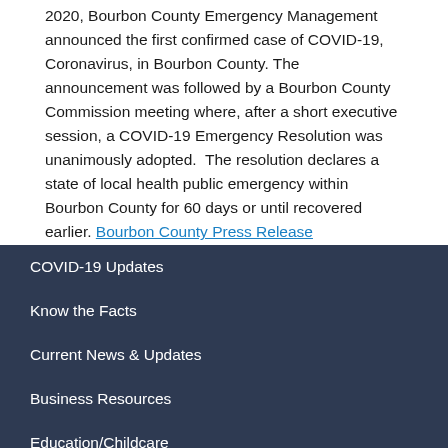2020, Bourbon County Emergency Management announced the first confirmed case of COVID-19, Coronavirus, in Bourbon County. The announcement was followed by a Bourbon County Commission meeting where, after a short executive session, a COVID-19 Emergency Resolution was unanimously adopted. The resolution declares a state of local health public emergency within Bourbon County for 60 days or until recovered earlier. Bourbon County Press Release
COVID-19 Updates
Know the Facts
Current News & Updates
Business Resources
Education/Childcare
Healthcare Information